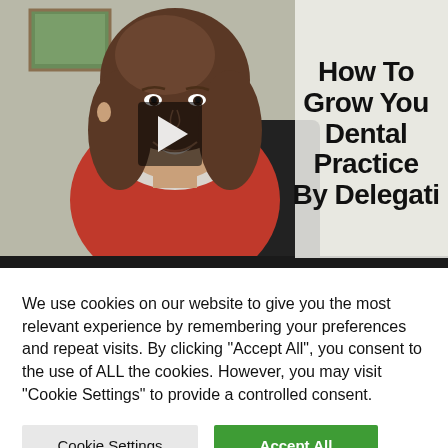[Figure (screenshot): Video thumbnail showing a woman in a red top smiling, with a play button overlay in the center, and text on the right side reading 'How To Grow Your Dental Practice By Delegati...' (text is partially cropped)]
We use cookies on our website to give you the most relevant experience by remembering your preferences and repeat visits. By clicking "Accept All", you consent to the use of ALL the cookies. However, you may visit "Cookie Settings" to provide a controlled consent.
Cookie Settings
Accept All